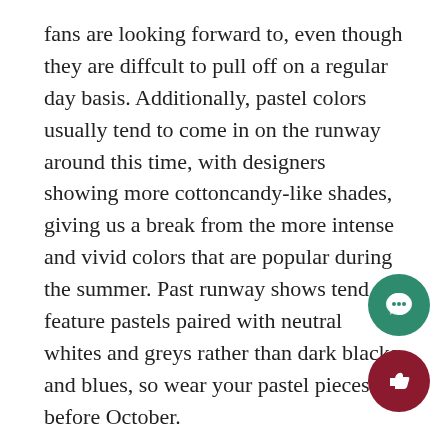fans are looking forward to, even though they are diffcult to pull off on a regular day basis. Additionally, pastel colors usually tend to come in on the runway around this time, with designers showing more cottoncandy-like shades, giving us a break from the more intense and vivid colors that are popular during the summer. Past runway shows tend to feature pastels paired with neutral whites and greys rather than dark blacks and blues, so wear your pastel pieces before October.
Some of my all-time favorites from previous runway shows include:
Hanley Mellon: Inspired by the team's trip to Antwerp, Belgium. Their collections include 80s wide-legged pan... and velvet belts.
Dennis Basso: Everyone loves Dennis Basso, especially when we see his elegant collection of furs and dresses tha...